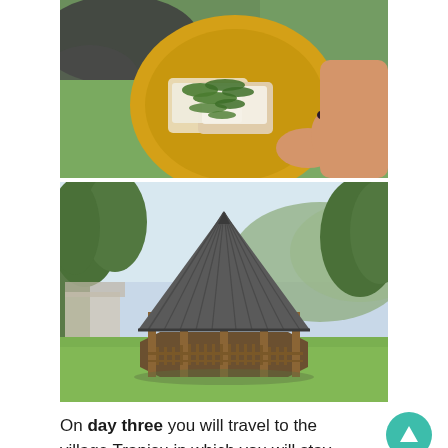[Figure (photo): A person holding a yellow plate with bread topped with white cheese and chopped green herbs/scallions, outdoors on grass with rocks in background.]
[Figure (photo): A wooden gazebo with a dark metal pyramidal roof set on a green lawn, with trees and a building visible in the background.]
On day three you will travel to the village Tranisu in which you will stay until day six. You will go to this village by train (local